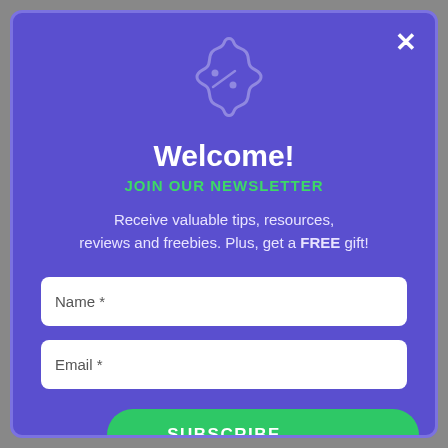[Figure (illustration): Discount/percent badge icon outline in light purple]
Welcome!
JOIN OUR NEWSLETTER
Receive valuable tips, resources, reviews and freebies. Plus, get a FREE gift!
Name *
Email *
SUBSCRIBE